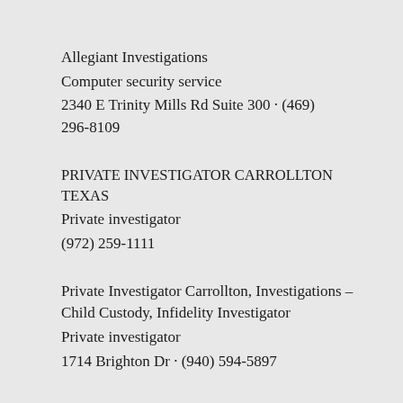Allegiant Investigations
Computer security service
2340 E Trinity Mills Rd Suite 300 · (469) 296-8109
PRIVATE INVESTIGATOR CARROLLTON TEXAS
Private investigator
(972) 259-1111
Private Investigator Carrollton, Investigations – Child Custody, Infidelity Investigator
Private investigator
1714 Brighton Dr · (940) 594-5897